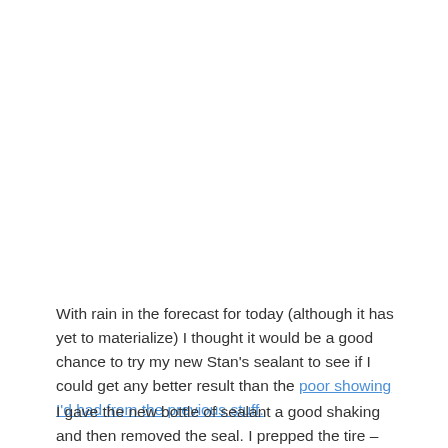With rain in the forecast for today (although it has yet to materialize) I thought it would be a good chance to try my new Stan's sealant to see if I could get any better result than the poor showing I'd had from the previous stuff.
I gave the new bottle of sealant a good shaking and then removed the seal. I prepped the tire – the one with the